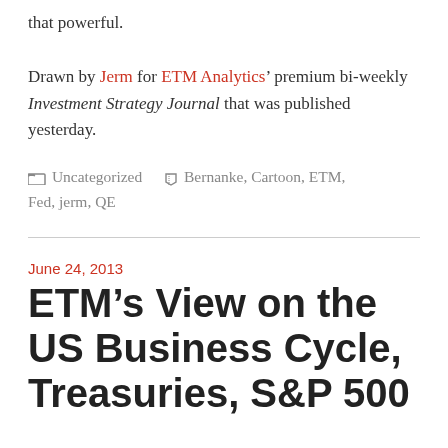that powerful.
Drawn by Jerm for ETM Analytics' premium bi-weekly Investment Strategy Journal that was published yesterday.
📁 Uncategorized  🏷 Bernanke, Cartoon, ETM, Fed, jerm, QE
June 24, 2013
ETM's View on the US Business Cycle, Treasuries, S&P 500